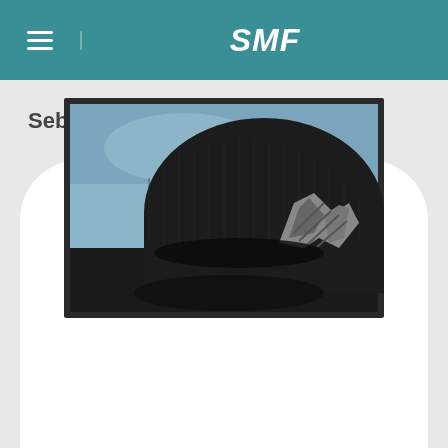SMF
Sebastian Calderon Velasco
[Figure (photo): Profile photo of a person wearing a dark knit beanie cap with a logo/patch, background shows blue sky. Image has dark grey border frame.]